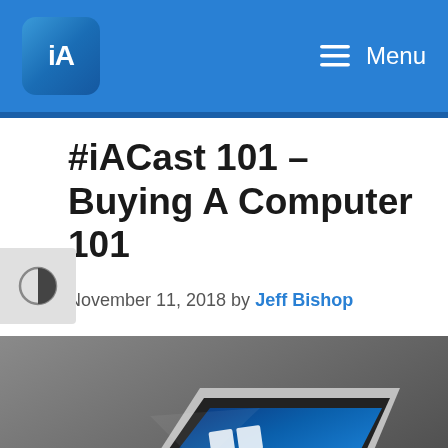iA  Menu
#iACast 101 – Buying A Computer 101
November 11, 2018 by Jeff Bishop
[Figure (photo): A Microsoft Surface laptop shown at an angle with Windows 10 desktop visible on screen, sitting on a dark grey surface.]